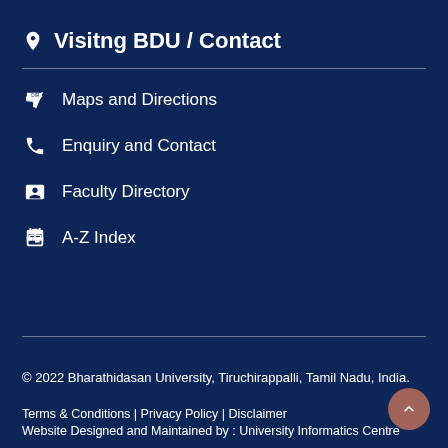Visitng BDU / Contact
Maps and Directions
Enquiry and Contact
Faculty Directory
A-Z Index
© 2022 Bharathidasan University, Tiruchirappalli, Tamil Nadu, India.
Terms & Conditions | Privacy Policy | Disclaimer
Website Designed and Maintained by : University Informatics Centre